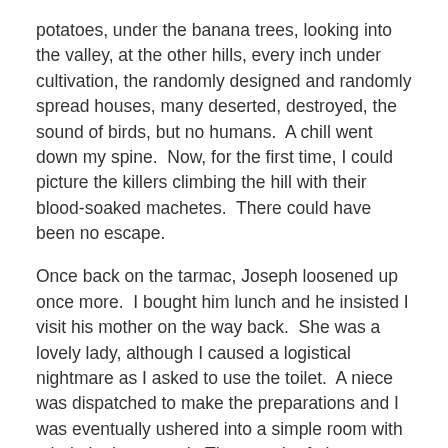potatoes, under the banana trees, looking into the valley, at the other hills, every inch under cultivation, the randomly designed and randomly spread houses, many deserted, destroyed, the sound of birds, but no humans.  A chill went down my spine.  Now, for the first time, I could picture the killers climbing the hill with their blood-soaked machetes.  There could have been no escape.
Once back on the tarmac, Joseph loosened up once more.  I bought him lunch and he insisted I visit his mother on the way back.  She was a lovely lady, although I caused a logistical nightmare as I asked to use the toilet.  A niece was dispatched to make the preparations and I was eventually ushered into a simple room with a hole in the ground.  The stench of air-freshener was overpowering.  We returned to Kigali and called Faustin's brother.  He was suspicious that someone was enquiring about Albert, but eventually told me that he now lives in Nairobi.  He promised to ring the following day with a number.  He never did.  I suspect he never will.  But at least Albert is free, albeit five years too late.  Yes